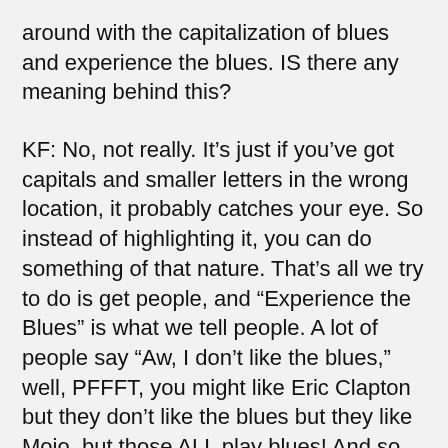around with the capitalization of blues and experience the blues. IS there any meaning behind this?
KF: No, not really. It’s just if you’ve got capitals and smaller letters in the wrong location, it probably catches your eye. So instead of highlighting it, you can do something of that nature. That’s all we try to do is get people, and “Experience the Blues” is what we tell people. A lot of people say “Aw, I don’t like the blues,” well, PFFFT, you might like Eric Clapton but they don’t like the blues but they like Mojo, but those ALL play blues! And so they have to understand that, that is the blues. It is the undercurrent under all of the